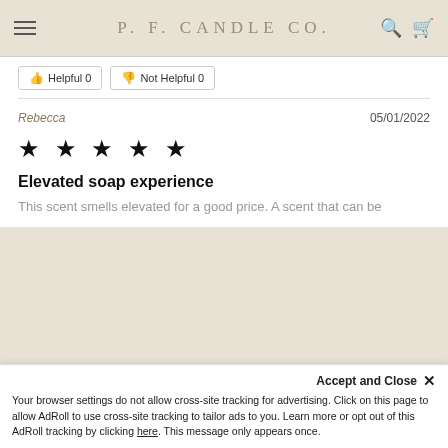P. F. CANDLE CO.
Helpful 0   Not Helpful 0
Rebecca   05/01/2022
[Figure (other): Five filled black stars rating]
Elevated soap experience
This scent smells elevated for a good price. A scent that can be
QTY: — 1 +   ADD TO CART
Pay in 4 interest-free installments for orders over $50 with shop Pay
Learn more
One-time purchase
Accept and Close ×
Your browser settings do not allow cross-site tracking for advertising. Click on this page to allow AdRoll to use cross-site tracking to tailor ads to you. Learn more or opt out of this AdRoll tracking by clicking here. This message only appears once.